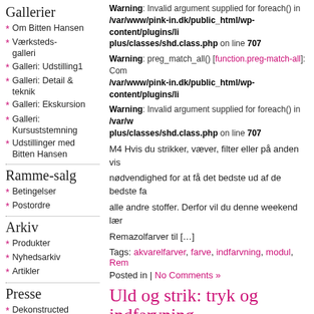Gallerier
Om Bitten Hansen
Værksteds-galleri
Galleri: Udstilling1
Galleri: Detail & teknik
Galleri: Ekskursion
Galleri: Kursuststemning
Udstillinger med Bitten Hansen
Ramme-salg
Betingelser
Postordre
Arkiv
Produkter
Nyhedsarkiv
Artikler
Presse
Dekonstructed Screen Printing
Kontakt
Warning: Invalid argument supplied for foreach() in /var/www/pink-in.dk/public_html/wp-content/plugins/li plus/classes/shd.class.php on line 707
Warning: preg_match_all() [function.preg-match-all]: Com /var/www/pink-in.dk/public_html/wp-content/plugins/li
Warning: Invalid argument supplied for foreach() in /var/w plus/classes/shd.class.php on line 707
M4 Hvis du strikker, væver, filter eller på anden vis
nødvendighed for at få det bedste ud af de bedste fa
alle andre stoffer. Derfor vil du denne weekend lær
Remazolfarver til […]
Tags: akvarelfarver, farve, indfarvning, modul, Rem
Posted in | No Comments »
Uld og strik: tryk og indfarvning
fredag, september 25th, 2009
Warning: preg_match() [function.preg-match]: Compilation /var/www/pink-in.dk/public_html/wp-content/plugins/li
Warning: preg_match_all() [function.preg-match-all]: Com /var/www/pink-in.dk/public_html/wp-content/plugins/li
Warning: Invalid argument supplied for foreach() in /var/w plus/classes/shd.class.php on line 707